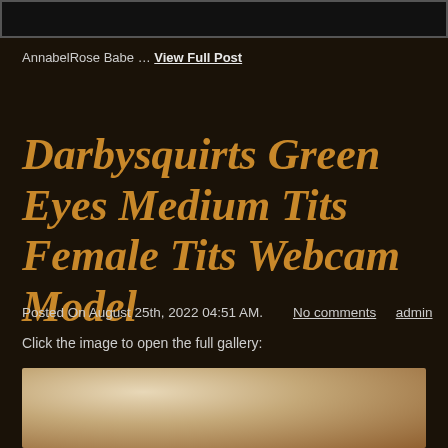[Figure (photo): Black rectangular image bar at the top of the page]
AnnabelRose Babe … View Full Post
Darbysquirts Green Eyes Medium Tits Female Tits Webcam Model
Posted On August 25th, 2022 04:51 AM.   No comments   admin
Click the image to open the full gallery:
[Figure (photo): Partial photo of a blonde woman, cropped at bottom of page]